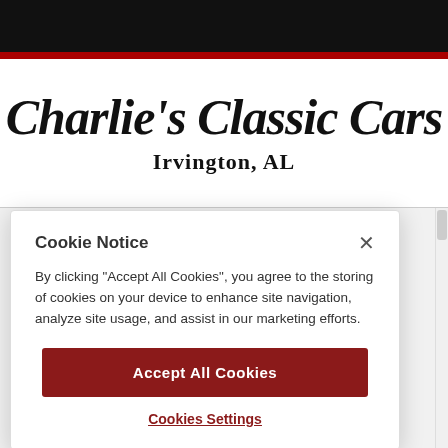Charlie's Classic Cars — Irvington, AL
Charlie's Classic Cars
Irvington, AL
Cookie Notice
By clicking "Accept All Cookies", you agree to the storing of cookies on your device to enhance site navigation, analyze site usage, and assist in our marketing efforts.
Accept All Cookies
Cookies Settings